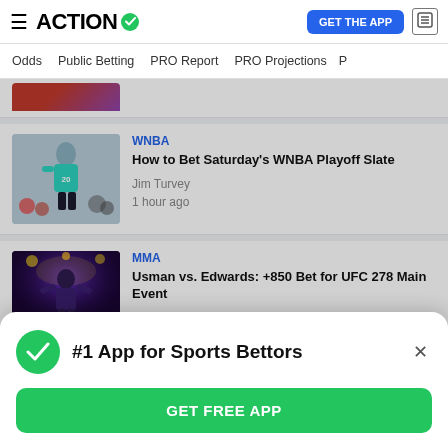ACTION
Odds
Public Betting
PRO Report
PRO Projections
[Figure (photo): Partially cropped sports article image at top]
WNBA
How to Bet Saturday's WNBA Playoff Slate
Jim Turvey
1 hour ago
[Figure (photo): WNBA basketball player wearing teal jersey number 20]
MMA
Usman vs. Edwards: +850 Bet for UFC 278 Main Event
[Figure (photo): MMA fighter in dramatic purple-lit arena]
#1 App for Sports Bettors
GET FREE APP
Featuring Dortmund vs. Werder Bremen